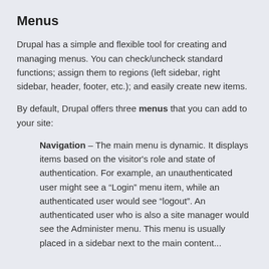Menus
Drupal has a simple and flexible tool for creating and managing menus. You can check/uncheck standard functions; assign them to regions (left sidebar, right sidebar, header, footer, etc.); and easily create new items.
By default, Drupal offers three menus that you can add to your site:
Navigation – The main menu is dynamic. It displays items based on the visitor's role and state of authentication. For example, an unauthenticated user might see a “Login” menu item, while an authenticated user would see “logout”. An authenticated user who is also a site manager would see the Administer menu. This menu is usually placed in a sidebar next to the main content...